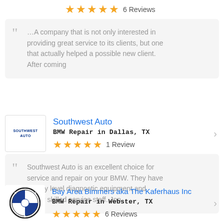★★★★★ 6 Reviews
…A company that is not only interested in providing great service to its clients, but one that actually helped a possible new client. After coming
Southwest Auto
BMW Repair in Dallas, TX
★★★★★ 1 Review
Southwest Auto is an excellent choice for service and repair on your BMW. They have factory level diagnostic equipment and highly skilled service staff. Jon...
Bay Area Bimmers aka The Kaferhaus Inc
BMW Repair in Webster, TX
★★★★★ 6 Reviews